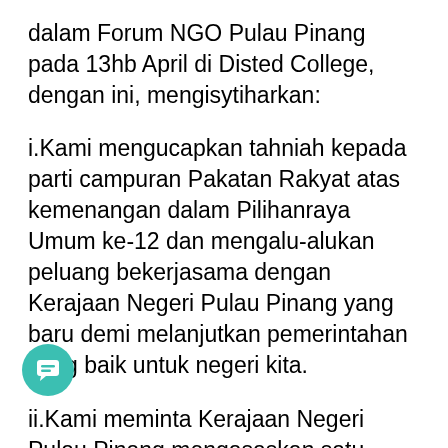dalam Forum NGO Pulau Pinang pada 13hb April di Disted College, dengan ini, mengisytiharkan:
i.Kami mengucapkan tahniah kepada parti campuran Pakatan Rakyat atas kemenangan dalam Pilihanraya Umum ke-12 dan mengalu-alukan peluang bekerjasama dengan Kerajaan Negeri Pulau Pinang yang baru demi melanjutkan pemerintahan yang baik untuk negeri kita.
ii.Kami meminta Kerajaan Negeri Pulau Pinang mengasaskan satu usahasama baru dengan rakyat Pulau Pinang yang akan berdasarkan prinsip-prinsip, partisipasi, ketelusan, kebertanggungjawapan, kemapanan dan keadilan sosial. Prinsip-prinsip umum dan asas
[Figure (illustration): Teal/cyan circular chat bubble button with speech bubble icon]